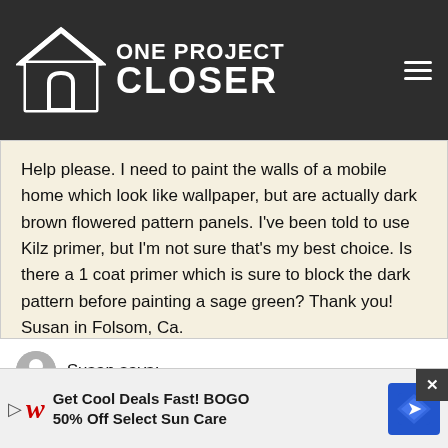ONE PROJECT CLOSER
Help please. I need to paint the walls of a mobile home which look like wallpaper, but are actually dark brown flowered pattern panels. I've been told to use Kilz primer, but I'm not sure that's my best choice. Is there a 1 coat primer which is sure to block the dark pattern before painting a sage green? Thank you! Susan in Folsom, Ca.
Susan says:
September 23, 2009 at 9:54 am
I am s... house was s... een
[Figure (infographic): Walgreens advertisement: Get Cool Deals Fast! BOGO 50% Off Select Sun Care]